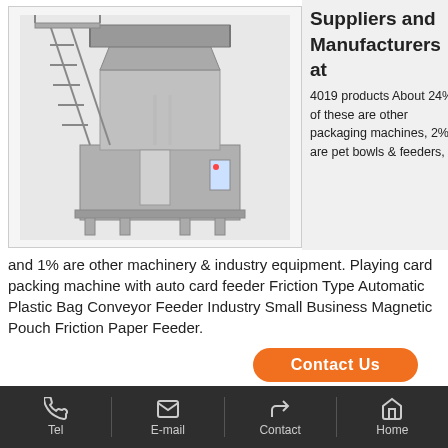[Figure (photo): Industrial packaging machine - large stainless steel automated packaging/filling machine with conveyor feeder system, stairs/ladder on left side, and control panel]
Suppliers and Manufacturers at
4019 products About 24% of these are other packaging machines, 2% are pet bowls & feeders, and 1% are other machinery & industry equipment. Playing card packing machine with auto card feeder Friction Type Automatic Plastic Bag Conveyor Feeder Industry Small Business Magnetic Pouch Friction Paper Feeder.
Contact Us
Send Inquiry
Tel   E-mail   Contact   Home